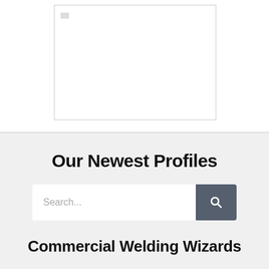[Figure (other): White rectangular placeholder image with light gray border and small gray icon in top-left corner]
Our Newest Profiles
Search...
Commercial Welding Wizards